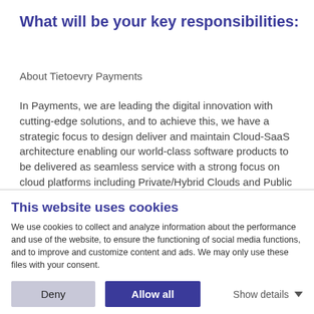What will be your key responsibilities:
About Tietoevry Payments
In Payments, we are leading the digital innovation with cutting-edge solutions, and to achieve this, we have a strategic focus to design deliver and maintain Cloud-SaaS architecture enabling our world-class software products to be delivered as seamless service with a strong focus on cloud platforms including Private/Hybrid Clouds and Public Clouds AWS, Azure and Google Cloud.
We ensure that our services are well designed and reliable,
This website uses cookies
We use cookies to collect and analyze information about the performance and use of the website, to ensure the functioning of social media functions, and to improve and customize content and ads. We may only use these files with your consent.
Deny  Allow all  Show details